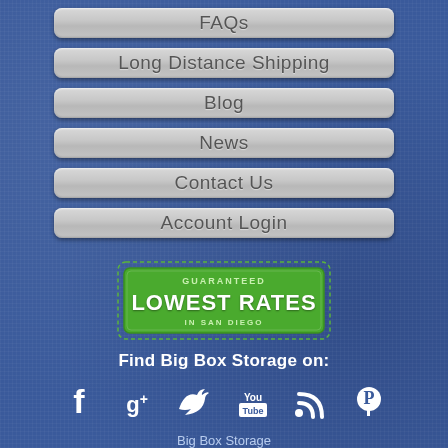FAQs
Long Distance Shipping
Blog
News
Contact Us
Account Login
[Figure (logo): Green stamp-style badge reading 'GUARANTEED LOWEST RATES IN SAN DIEGO']
Find Big Box Storage on:
[Figure (infographic): Social media icons: Facebook, Google+, Twitter, YouTube, RSS, Pinterest]
Big Box Storage